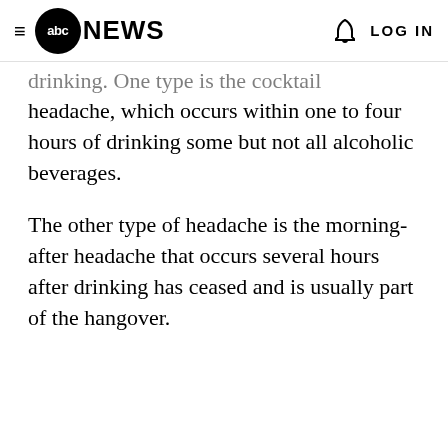abc NEWS  LOG IN
drinking. One type is the cocktail headache, which occurs within one to four hours of drinking some but not all alcoholic beverages.
The other type of headache is the morning-after headache that occurs several hours after drinking has ceased and is usually part of the hangover.